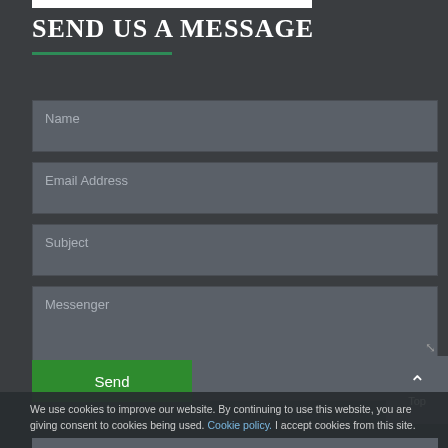SEND US A MESSAGE
[Figure (screenshot): Web contact form with fields for Name, Email Address, Subject, and Messenger on a dark background, with a green Send button and a cookie consent banner at the bottom.]